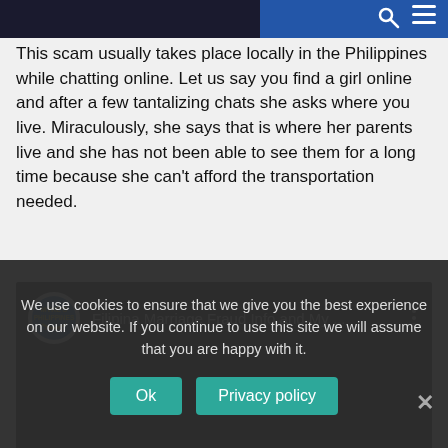This scam usually takes place locally in the Philippines while chatting online. Let us say you find a girl online and after a few tantalizing chats she asks where you live. Miraculously, she says that is where her parents live and she has not been able to see them for a long time because she can’t afford the transportation needed.
[Figure (screenshot): YouTube video embed with title 'Filipina Marriage Fraud Info and My ...' and channel logo for Myke's Philippines with a three-dot menu icon.]
We use cookies to ensure that we give you the best experience on our website. If you continue to use this site we will assume that you are happy with it.